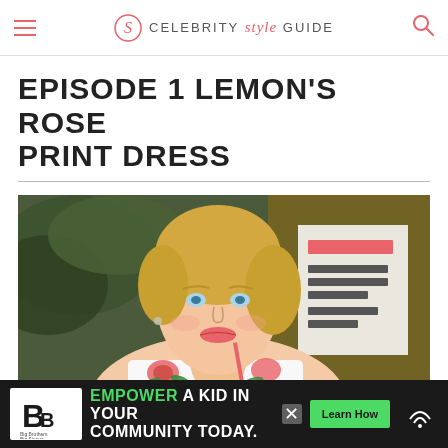CELEBRITY style GUIDE
EPISODE 1 LEMON'S ROSE PRINT DRESS
[Figure (photo): Blonde woman wearing a white floral rose print dress, seated, holding a red straw, with greenery and a parade sign visible in the background]
[Figure (infographic): Advertisement banner: Big Brothers Big Sisters of America logo, text reading EMPOWER A KID IN YOUR COMMUNITY TODAY with a green Learn How button and a close X button, with a weather icon on the right]